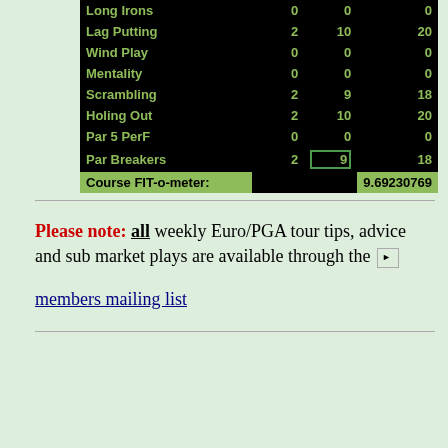|  |  |  |  |
| --- | --- | --- | --- |
| Long Irons | 0 | 0 | 0 |
| Lag Putting | 2 | 10 | 20 |
| Wind Play | 0 | 0 | 0 |
| Mentality | 0 | 0 | 0 |
| Scrambling | 2 | 9 | 18 |
| Holing Out | 2 | 10 | 20 |
| Par 5 PerF | 0 | 0 | 0 |
| Par Breakers | 2 | 9 | 18 |
| Course FIT-o-meter: |  |  | 9.69230769 |
Please note: all weekly Euro/PGA tour tips, advice and sub market plays are available through the [icon] members mailing list